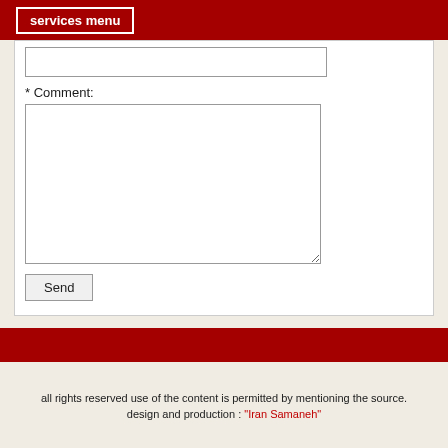services menu
[Figure (screenshot): Short text input field]
* Comment:
[Figure (screenshot): Large comment textarea input field with resize handle]
Send
all rights reserved use of the content is permitted by mentioning the source. design and production : "Iran Samaneh"